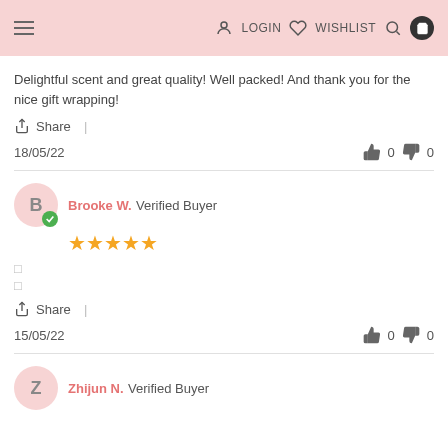LOGIN WISHLIST
Delightful scent and great quality! Well packed! And thank you for the nice gift wrapping!
Share |
18/05/22  👍 0  👎 0
Brooke W. Verified Buyer ★★★★★
Share |
15/05/22  👍 0  👎 0
Zhijun N. Verified Buyer